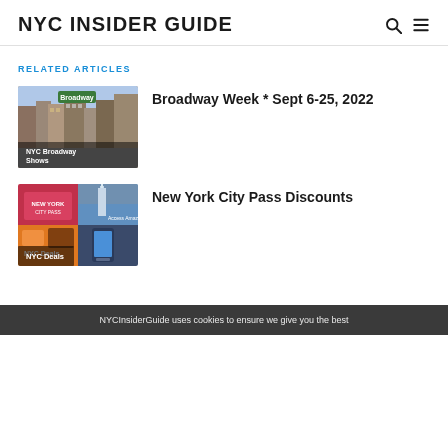NYC INSIDER GUIDE
RELATED ARTICLES
[Figure (photo): NYC Broadway street scene thumbnail with label 'NYC Broadway Shows']
Broadway Week * Sept 6-25, 2022
[Figure (photo): NYC City Pass promotional collage thumbnail with label 'NYC Deals']
New York City Pass Discounts
NYCInsiderGuide uses cookies to ensure we give you the best